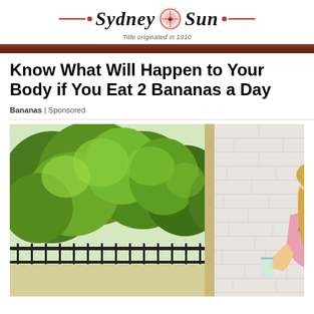Sydney Sun · Title originated in 1910
Know What Will Happen to Your Body if You Eat 2 Bananas a Day
Bananas | Sponsored
[Figure (photo): Young woman with long blonde hair, wearing a floral dress, sitting on an outdoor balcony holding a glass of drink, with lush green trees and a white brick wall behind her.]